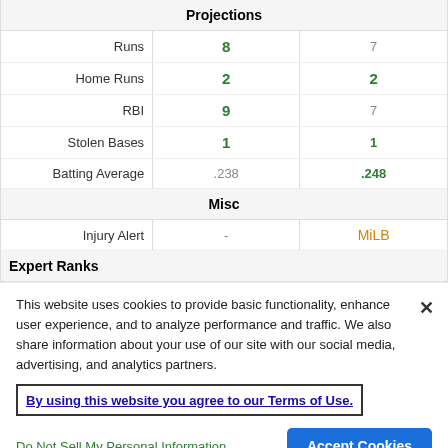|  | Col1 | Col2 |
| --- | --- | --- |
| Projections |  |  |
| Runs | 8 | 7 |
| Home Runs | 2 | 2 |
| RBI | 9 | 7 |
| Stolen Bases | 1 | 1 |
| Batting Average | .238 | .248 |
| Misc |  |  |
| Injury Alert | - | MiLB |
| Expert Ranks |  |  |
| Joe Bond | #108 |  |
This website uses cookies to provide basic functionality, enhance user experience, and to analyze performance and traffic. We also share information about your use of our site with our social media, advertising, and analytics partners.
By using this website you agree to our Terms of Use.
Do Not Sell My Personal Information
Accept Cookies